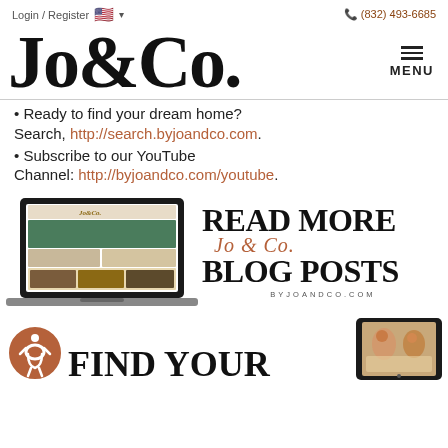Login / Register  🇺🇸 ∨    📞 (832) 493-6685
Jo&Co.
• Ready to find your dream home?
Search, http://search.byjoandco.com.
• Subscribe to our YouTube Channel: http://byjoandco.com/youtube.
[Figure (screenshot): Laptop displaying Jo&Co website alongside 'READ MORE Jo&Co. BLOG POSTS BYJOANDCO.COM' promotional graphic]
[Figure (infographic): Accessibility icon circle with FIND YOUR text and tablet image]